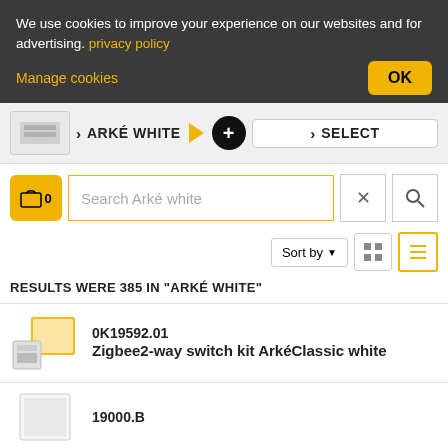We use cookies to improve your experience on our websites and for advertising. privacy policy
Manage cookies
OK
ARKÉ WHITE
SELECT
Search Arké white
Sort by
RESULTS WERE 385 IN "ARKÉ WHITE"
0K19592.01
Zigbee2-way switch kit ArkéClassic white
19000.B